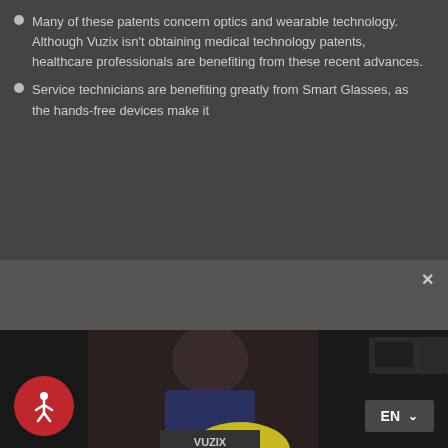Many of these patents concern optics and wearable technology. Although Vuzix isn't obtaining medical technology patents, healthcare professionals are benefiting from these recent advances.
Service technicians are benefiting greatly from Smart Glasses, as the hands-free devices make it
It seems you're in the United States. Redirect to Vuzix US to ship to your country?
Yes, please
No, thanks
[Figure (photo): Screenshot of a Vuzix website with a modal dialog asking about US redirect, showing a person in the background and accessibility/language controls at the bottom.]